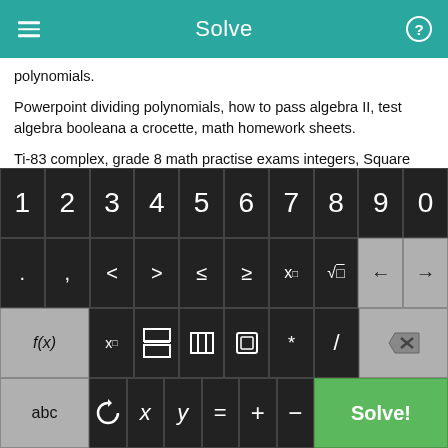Solve
polynomials.
Powerpoint dividing polynomials, how to pass algebra II, test algebra booleana a crocette, math homework sheets.
Ti-83 complex, grade 8 math practise exams integers, Square Root Calculators For Algebra, powerpoints on parabolas, logarithmic equation calculator, mathcad solve nonlinear equations, Algebrator Problem.
[Figure (screenshot): Calculator keyboard with digits 1-9,0; symbols row with period, comma, <, >, ≤, ≥, x^□, √□, and arrow keys; function row with f(x), x subscript, fraction, abs, parentheses, *, /, delete; bottom row with abc, undo, x, y, =, +, -, and Solve! button in green.]